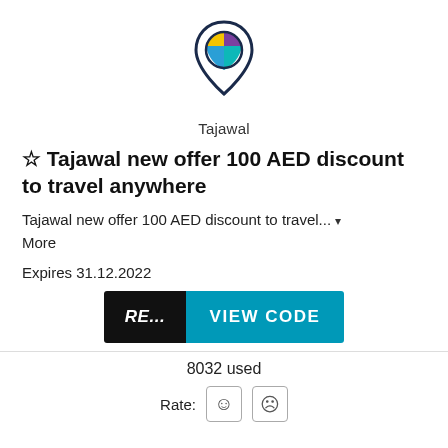[Figure (logo): Tajawal logo: a teardrop/shield shape outline in dark navy with colorful quadrant fill (yellow, purple, blue), above the word 'tajawal' in dark navy sans-serif]
Tajawal
☆ Tajawal new offer 100 AED discount to travel anywhere
Tajawal new offer 100 AED discount to travel... ▾ More
Expires 31.12.2022
[Figure (screenshot): A button with two parts: left black section with italic 'RE...' text, right teal section with 'VIEW CODE' text]
8032 used
Rate: ☺ ☹